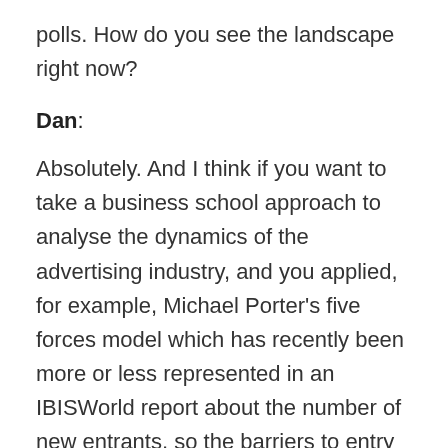polls. How do you see the landscape right now?
Dan:
Absolutely. And I think if you want to take a business school approach to analyse the dynamics of the advertising industry, and you applied, for example, Michael Porter's five forces model which has recently been more or less represented in an IBISWorld report about the number of new entrants, so the barriers to entry are very low.
Obviously, you don't need a huge amount of capital. Maybe in this day and age a computer and some software to start. But the competitive intensity amongst existing players is immense. And so, I agree with